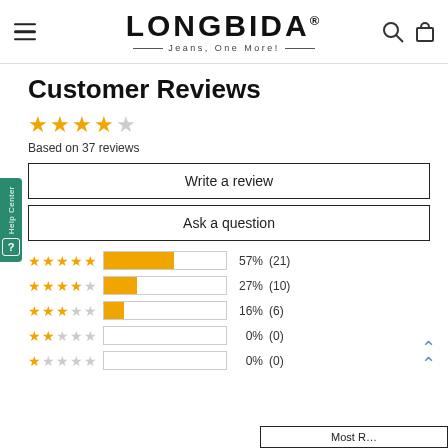LONGBIDA® — Jeans, One More!
Customer Reviews
Based on 37 reviews
Write a review
Ask a question
[Figure (bar-chart): Rating breakdown]